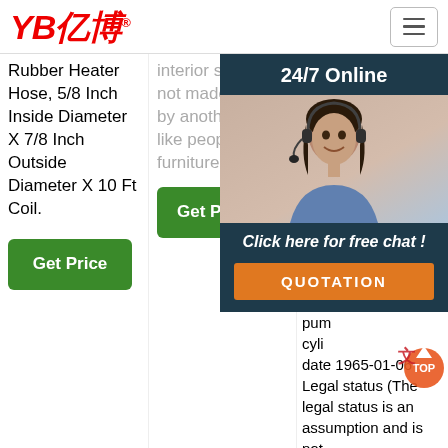YB亿博
Rubber Heater Hose, 5/8 Inch Inside Diameter X 7/8 Inch Outside Diameter X 10 Ft Coil.
interior space is not made stinky by another smell like people and furniture, it ...
423798 A US423799 A US 423 423 US4 423 327 US3 327 US Price con pu cyli date 1965-01-06 Legal status (The legal status is an assumption and is not ...
[Figure (photo): Customer service representative woman with headset, 24/7 Online chat overlay with QUOTATION button]
[Figure (logo): TOP navigation icon overlay at bottom right]